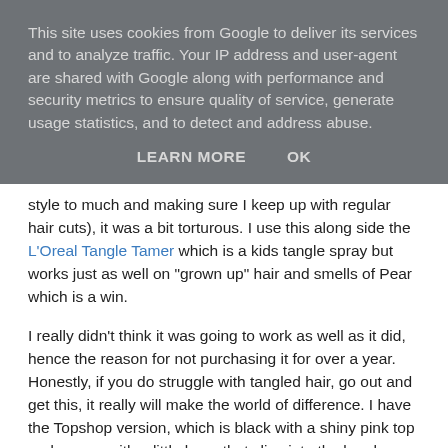This site uses cookies from Google to deliver its services and to analyze traffic. Your IP address and user-agent are shared with Google along with performance and security metrics to ensure quality of service, generate usage statistics, and to detect and address abuse.
LEARN MORE    OK
style to much and making sure I keep up with regular hair cuts), it was a bit torturous. I use this along side the L'Oreal Tangle Tamer which is a kids tangle spray but works just as well on "grown up" hair and smells of Pear which is a win.
I really didn't think it was going to work as well as it did, hence the reason for not purchasing it for over a year. Honestly, if you do struggle with tangled hair, go out and get this, it really will make the world of difference. I have the Topshop version, which is black with a shiny pink top and comes with a little base that clips into the brush making it easy to transport but there are a variety of colours and styles in Boots if that's easier for you.